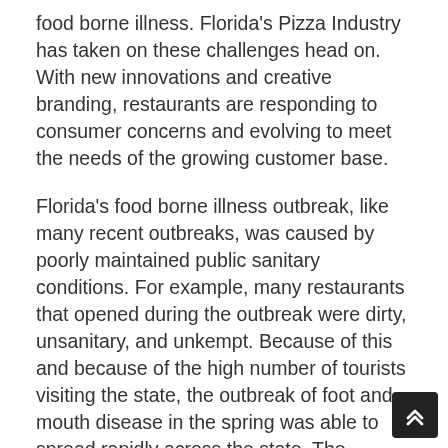food borne illness. Florida's Pizza Industry has taken on these challenges head on. With new innovations and creative branding, restaurants are responding to consumer concerns and evolving to meet the needs of the growing customer base.
Florida's food borne illness outbreak, like many recent outbreaks, was caused by poorly maintained public sanitary conditions. For example, many restaurants that opened during the outbreak were dirty, unsanitary, and unkempt. Because of this and because of the high number of tourists visiting the state, the outbreak of foot and mouth disease in the spring was able to spread rapidly across the state. The combination of unkempt restaurants, dirty tables, and dirty surroundings made it easy for the swarms of visitors to pass along the infection.
Fortunately, the Florida pizza industry responded